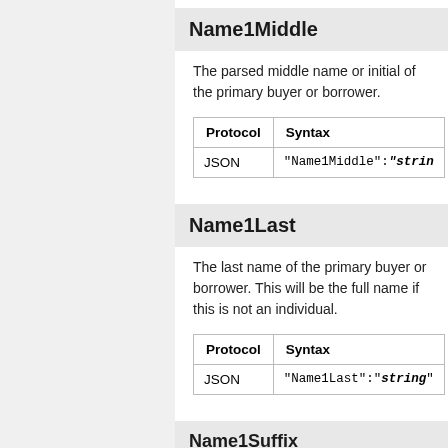Name1Middle
The parsed middle name or initial of the primary buyer or borrower.
| Protocol | Syntax |
| --- | --- |
| JSON | "Name1Middle":"string" |
Name1Last
The last name of the primary buyer or borrower. This will be the full name if this is not an individual.
| Protocol | Syntax |
| --- | --- |
| JSON | "Name1Last":"string" |
Name1Suffix